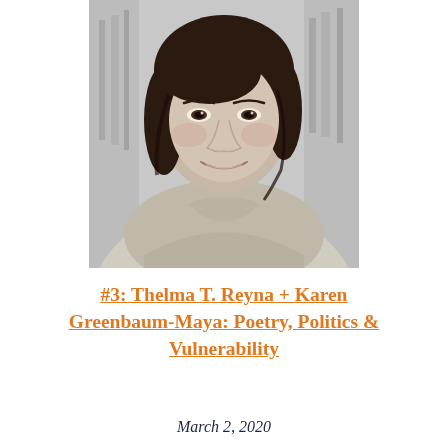[Figure (photo): Black and white portrait photo of a woman with dark shoulder-length hair, smiling, wearing a cowl-neck sweater, with bookshelves blurred in the background.]
#3: Thelma T. Reyna + Karen Greenbaum-Maya: Poetry, Politics & Vulnerability
March 2, 2020